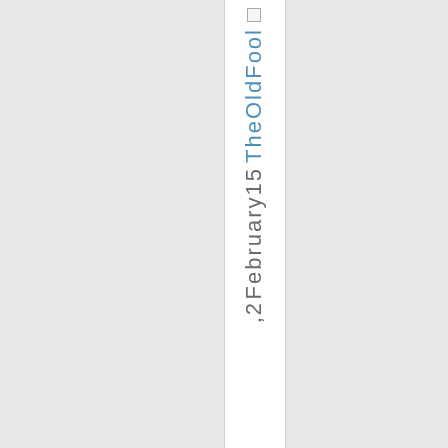The Old Fool February 15, 2
[Figure (other): Small checkbox/icon at top of vertical text strip]